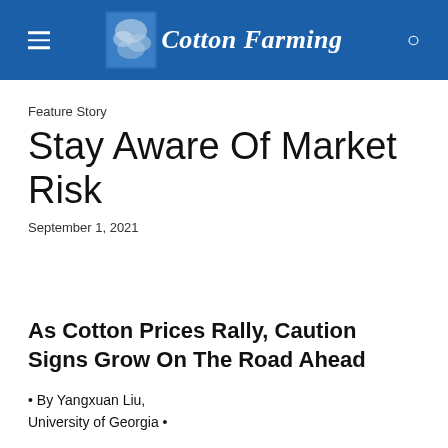Cotton Farming
Feature Story
Stay Aware Of Market Risk
September 1, 2021
As Cotton Prices Rally, Caution Signs Grow On The Road Ahead
• By Yangxuan Liu, University of Georgia •